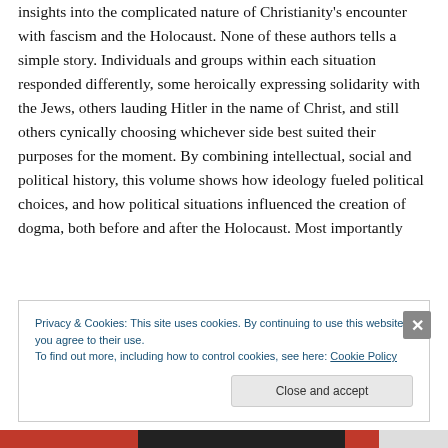insights into the complicated nature of Christianity's encounter with fascism and the Holocaust. None of these authors tells a simple story. Individuals and groups within each situation responded differently, some heroically expressing solidarity with the Jews, others lauding Hitler in the name of Christ, and still others cynically choosing whichever side best suited their purposes for the moment. By combining intellectual, social and political history, this volume shows how ideology fueled political choices, and how political situations influenced the creation of dogma, both before and after the Holocaust. Most importantly
Privacy & Cookies: This site uses cookies. By continuing to use this website, you agree to their use. To find out more, including how to control cookies, see here: Cookie Policy